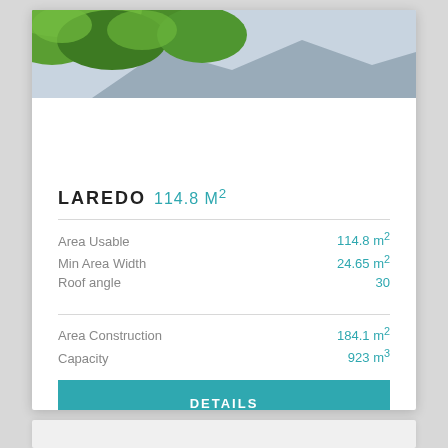[Figure (photo): Outdoor photo showing green tree leaves in upper left corner and blue-grey sky background]
LAREDO 114.8 M²
| Property | Value |
| --- | --- |
| Area Usable | 114.8 m² |
| Min Area Width | 24.65 m² |
| Roof angle | 30 |
| Area Construction | 184.1 m² |
| Capacity | 923 m³ |
DETAILS